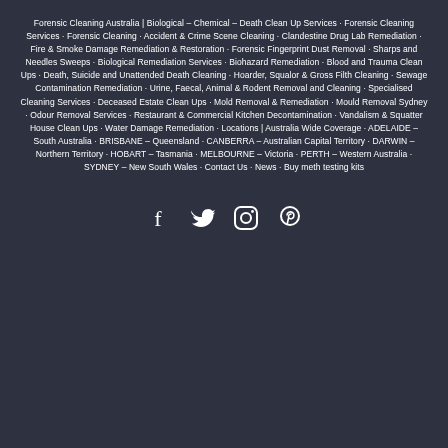Forensic Cleaning Australia | Biological – Chemical – Death Clean Up Services · Forensic Cleaning Services · Forensic Cleaning · Accident & Crime Scene Cleaning · Clandestine Drug Lab Remediation · Fire & Smoke Damage Remediation & Restoration · Forensic Fingerprint Dust Removal · Sharps and Needles Sweeps · Biological Remediation Services · Biohazard Remediation · Blood and Trauma Clean Ups · Death, Suicide and Unattended Death Cleaning · Hoarder, Squalor & Gross Filth Cleaning · Sewage Contamination Remediation · Urine, Faecal, Animal & Rodent Removal and Cleaning · Specialised Cleaning Services · Deceased Estate Clean Ups · Mold Removal & Remediation · Mould Removal Sydney · Odour Removal Services · Restaurant & Commercial Kitchen Decontamination · Vandalism & Squatter House Clean Ups · Water Damage Remediation · Locations | Australia Wide Coverage · ADELAIDE – South Australia · BRISBANE – Queensland · CANBERRA – Australian Capital Territory · DARWIN – Northern Territory · HOBART – Tasmania · MELBOURNE – Victoria · PERTH – Western Australia · SYDNEY – New South Wales · Contact Us · News · Buy meth testing kits
[Figure (other): Social media icons: Facebook, Twitter, Instagram, Pinterest]